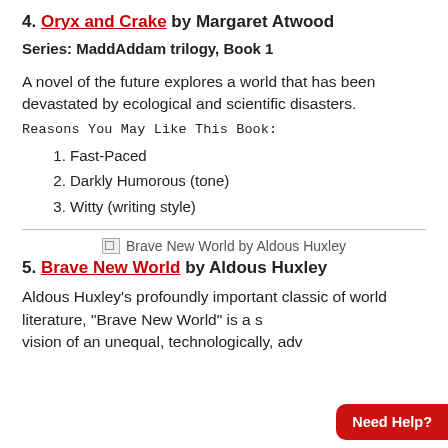4. Oryx and Crake by Margaret Atwood
Series: MaddAddam trilogy, Book 1
A novel of the future explores a world that has been devastated by ecological and scientific disasters.
Reasons You May Like This Book:
1. Fast-Paced
2. Darkly Humorous (tone)
3. Witty (writing style)
[Figure (illustration): Broken image placeholder for Brave New World by Aldous Huxley]
5. Brave New World by Aldous Huxley
Aldous Huxley's profoundly important classic of world literature, "Brave New World" is a s... vision of an unequal, technologically, adv...